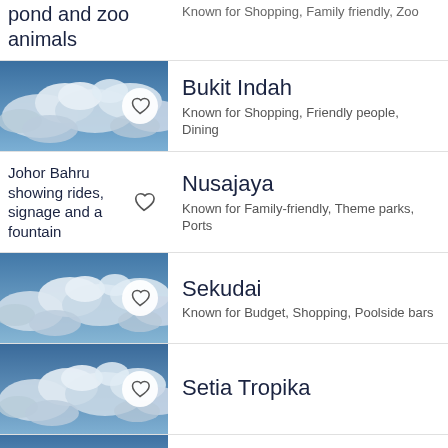pond and zoo animals
Known for Shopping, Family friendly, Zoo
Bukit Indah
Known for Shopping, Friendly people, Dining
Johor Bahru showing rides, signage and a fountain
Nusajaya
Known for Family-friendly, Theme parks, Ports
Sekudai
Known for Budget, Shopping, Poolside bars
Setia Tropika
Austin Heights